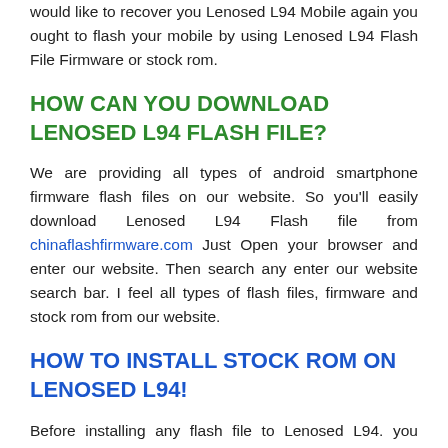would like to recover you Lenosed L94 Mobile again you ought to flash your mobile by using Lenosed L94 Flash File Firmware or stock rom.
HOW CAN YOU DOWNLOAD LENOSED L94 FLASH FILE?
We are providing all types of android smartphone firmware flash files on our website. So you’ll easily download Lenosed L94 Flash file from chinaflashfirmware.com Just Open your browser and enter our website. Then search any enter our website search bar. I feel all types of flash files, firmware and stock rom from our website.
HOW TO INSTALL STOCK ROM ON LENOSED L94!
Before installing any flash file to Lenosed L94. you ought to check the wants . First Download & install MTK USB DRIVER on your computer. Then Download Lenosed L94 firmware from the link below. Then download SP FLASH TOOL. After